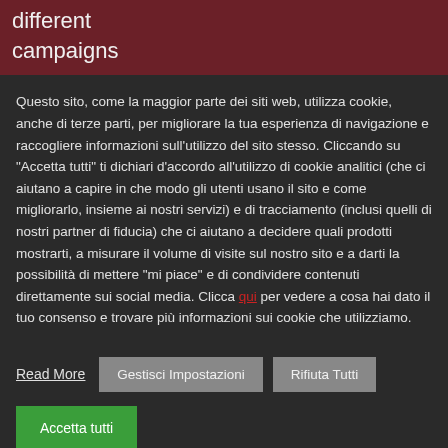different campaigns
Questo sito, come la maggior parte dei siti web, utilizza cookie, anche di terze parti, per migliorare la tua esperienza di navigazione e raccogliere informazioni sull'utilizzo del sito stesso. Cliccando su "Accetta tutti" ti dichiari d'accordo all'utilizzo di cookie analitici (che ci aiutano a capire in che modo gli utenti usano il sito e come migliorarlo, insieme ai nostri servizi) e di tracciamento (inclusi quelli di nostri partner di fiducia) che ci aiutano a decidere quali prodotti mostrarti, a misurare il volume di visite sul nostro sito e a darti la possibilità di mettere "mi piace" e di condividere contenuti direttamente sui social media. Clicca qui per vedere a cosa hai dato il tuo consenso e trovare più informazioni sui cookie che utilizziamo.
Read More
Gestisci Impostazioni
Rifiuta Tutti
Accetta tutti